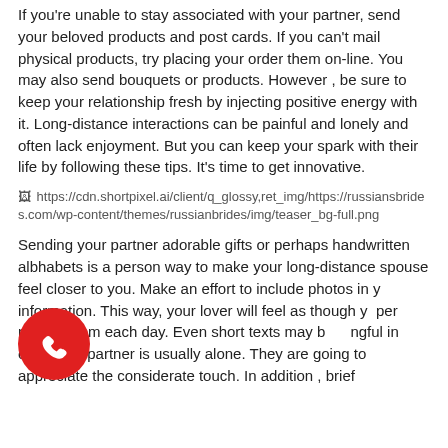If you're unable to stay associated with your partner, send your beloved products and post cards. If you can't mail physical products, try placing your order them on-line. You may also send bouquets or products. However , be sure to keep your relationship fresh by injecting positive energy with it. Long-distance interactions can be painful and lonely and often lack enjoyment. But you can keep your spark with their life by following these tips. It's time to get innovative.
[Figure (other): Broken image placeholder showing URL: https://cdn.shortpixel.ai/client/q_glossy,ret_img/https://russiansbrides.com/wp-content/themes/russianbrides/img/teaser_bg-full.png]
Sending your partner adorable gifts or perhaps handwritten albhabets is a person way to make your long-distance spouse feel closer to you. Make an effort to include photos in your information. This way, your lover will feel as though you're per next to them each day. Even short texts may be meaningful in case your partner is usually alone. They are going to appreciate the considerate touch. In addition , brief